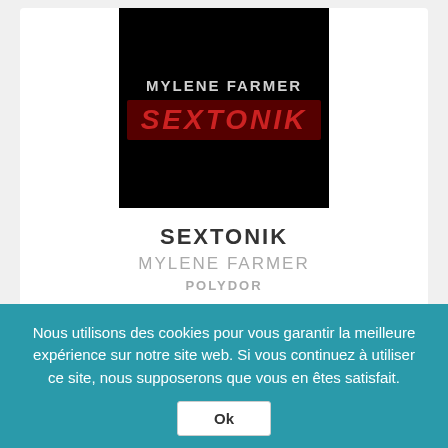[Figure (illustration): Album cover for Sextonik by Mylene Farmer on Polydor. Black background with artist name MYLENE FARMER in light grey bold text and SEXTONIK in large red italic letters on a dark red banner.]
SEXTONIK
MYLENE FARMER
POLYDOR
[Figure (other): Row of 5 music service icons: Deezer, Amazon Music, Fnac, Apple Music, Qobuz]
Nous utilisons des cookies pour vous garantir la meilleure expérience sur notre site web. Si vous continuez à utiliser ce site, nous supposerons que vous en êtes satisfait.